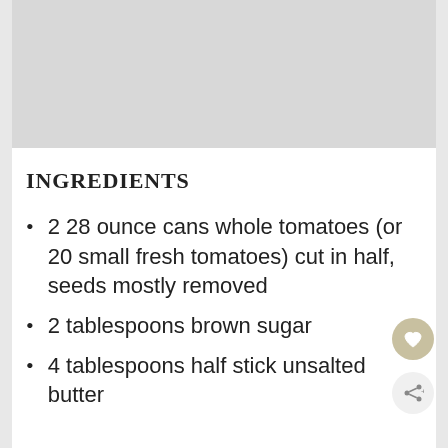[Figure (photo): Gray image placeholder at top of page]
INGREDIENTS
2 28 ounce cans whole tomatoes (or 20 small fresh tomatoes) cut in half, seeds mostly removed
2 tablespoons brown sugar
4 tablespoons half stick unsalted butter